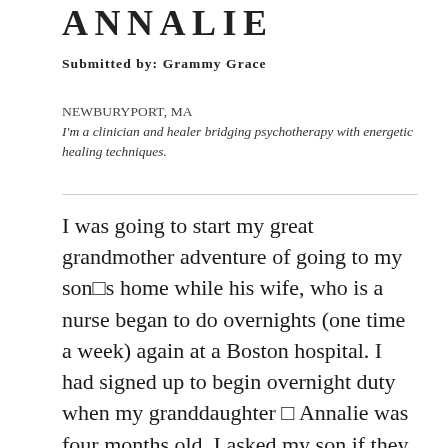ANNALIE
Submitted by: Grammy Grace
NEWBURYPORT, MA
I'm a clinician and healer bridging psychotherapy with energetic healing techniques.
I was going to start my great grandmother adventure of going to my son■s home while his wife, who is a nurse began to do overnights (one time a week) again at a Boston hospital. I had signed up to begin overnight duty when my granddaughter ■ Annalie was four months old. I asked my son if they had a rocking chair and he said no. I knew I needed one. I started to look